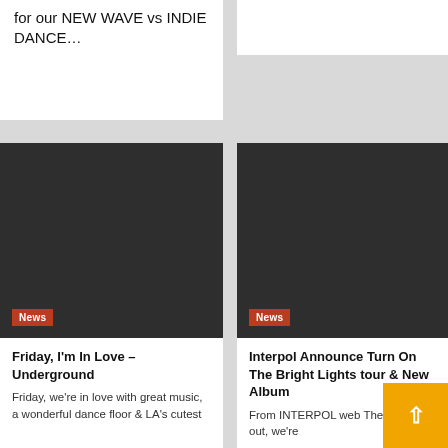for our NEW WAVE vs INDIE DANCE…
[Figure (photo): Dark/black image placeholder for article thumbnail with News badge]
News
Friday, I'm In Love – Underground
Friday, we're in love with great music, a wonderful dance floor & LA's cutest
[Figure (photo): Dark/black image placeholder for article thumbnail with News badge]
News
Interpol Announce Turn On The Bright Lights tour & New Album
From INTERPOL web The word is out, we're